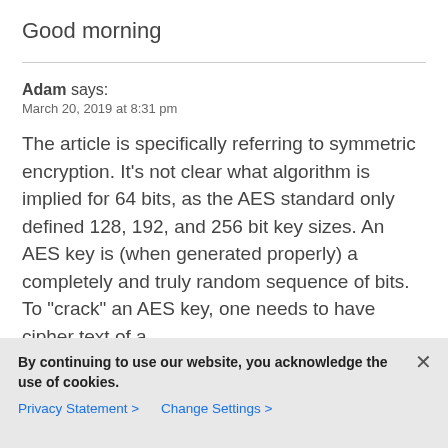Good morning
Adam says:
March 20, 2019 at 8:31 pm
The article is specifically referring to symmetric encryption. It's not clear what algorithm is implied for 64 bits, as the AES standard only defined 128, 192, and 256 bit key sizes. An AES key is (when generated properly) a completely and truly random sequence of bits. To "crack" an AES key, one needs to have cipher text of a
By continuing to use our website, you acknowledge the use of cookies.
Privacy Statement >  Change Settings >